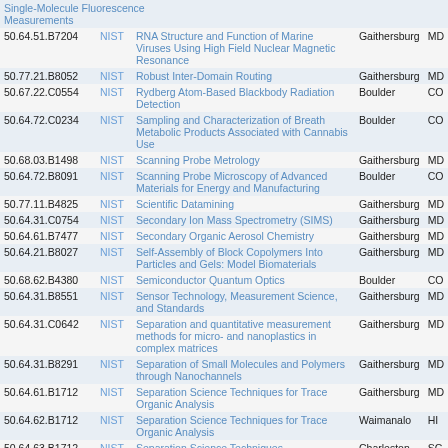| Code | Agency | Title | Location | State |
| --- | --- | --- | --- | --- |
|  |  | Single-Molecule Fluorescence Measurements |  |  |
| 50.64.51.B7204 | NIST | RNA Structure and Function of Marine Viruses Using High Field Nuclear Magnetic Resonance | Gaithersburg | MD |
| 50.77.21.B8052 | NIST | Robust Inter-Domain Routing | Gaithersburg | MD |
| 50.67.22.C0554 | NIST | Rydberg Atom-Based Blackbody Radiation Detection | Boulder | CO |
| 50.64.72.C0234 | NIST | Sampling and Characterization of Breath Metabolic Products Associated with Cannabis Use | Boulder | CO |
| 50.68.03.B1498 | NIST | Scanning Probe Metrology | Gaithersburg | MD |
| 50.64.72.B8091 | NIST | Scanning Probe Microscopy of Advanced Materials for Energy and Manufacturing | Boulder | CO |
| 50.77.11.B4825 | NIST | Scientific Datamining | Gaithersburg | MD |
| 50.64.31.C0754 | NIST | Secondary Ion Mass Spectrometry (SIMS) | Gaithersburg | MD |
| 50.64.61.B7477 | NIST | Secondary Organic Aerosol Chemistry | Gaithersburg | MD |
| 50.64.21.B8027 | NIST | Self-Assembly of Block Copolymers Into Particles and Gels: Model Biomaterials | Gaithersburg | MD |
| 50.68.62.B4380 | NIST | Semiconductor Quantum Optics | Boulder | CO |
| 50.64.31.B8551 | NIST | Sensor Technology, Measurement Science, and Standards | Gaithersburg | MD |
| 50.64.31.C0642 | NIST | Separation and quantitative measurement methods for micro- and nanoplastics in complex matrices | Gaithersburg | MD |
| 50.64.31.B8291 | NIST | Separation of Small Molecules and Polymers through Nanochannels | Gaithersburg | MD |
| 50.64.61.B1712 | NIST | Separation Science Techniques for Trace Organic Analysis | Gaithersburg | MD |
| 50.64.62.B1712 | NIST | Separation Science Techniques for Trace Organic Analysis | Waimanalo | HI |
| 50.64.63.B1712 | NIST | Separation Science Techniques | Charleston | SC |